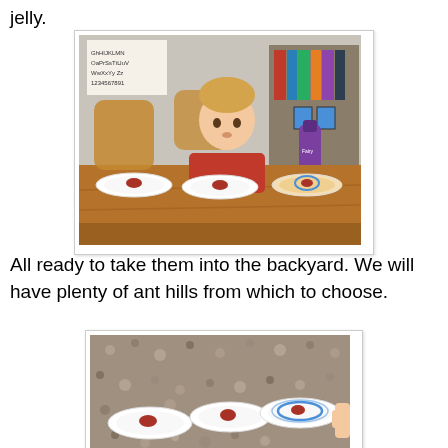jelly.
[Figure (photo): A young boy with blond hair wearing a red shirt sits at a wooden table with three plates in front of him, each containing a small portion of red jelly. A purple dish soap bottle is on the table. Bookshelves and an alphabet chart are visible in the background.]
All ready to take them into the backyard. We will have plenty of ant hills from which to choose.
[Figure (photo): Three white paper plates arranged on a gravel/stone surface outdoors. Each plate contains a small amount of red jelly. A child's hand is visible at the right edge.]